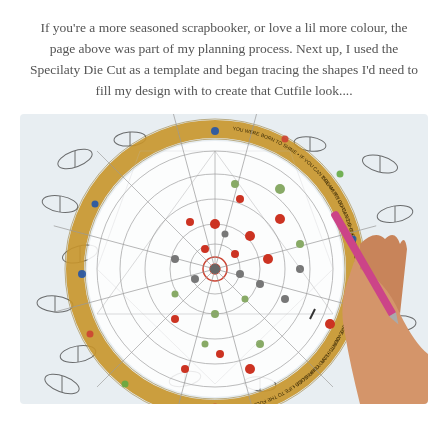If you're a more seasoned scrapbooker, or love a lil more colour, the page above was part of my planning process. Next up, I used the Specilaty Die Cut as a template and began tracing the shapes I'd need to fill my design with to create that Cutfile look....
[Figure (photo): A hand holding a pink pen/pencil tracing over a circular Specialty Die Cut template placed on patterned paper with black and white feather designs. The die cut has a dreamcatcher-style mandala pattern with colored dots (red, blue, green, gray) and geometric lines, surrounded by a gold border ring with text.]